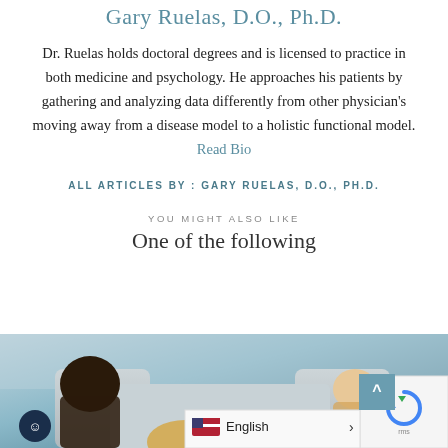Gary Ruelas, D.O., Ph.D.
Dr. Ruelas holds doctoral degrees and is licensed to practice in both medicine and psychology. He approaches his patients by gathering and analyzing data differently from other physician's moving away from a disease model to a holistic functional model. Read Bio
ALL ARTICLES BY : GARY RUELAS, D.O., PH.D.
YOU MIGHT ALSO LIKE
One of the following
[Figure (photo): Photo of people sitting on a couch, viewed from behind, in a living room setting.]